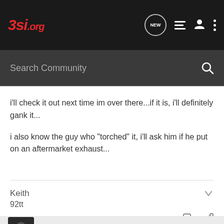3si.org
Search Community
i'll check it out next time im over there...if it is, i'll definitely gank it...

i also know the guy who "torched" it, i'll ask him if he put on an aftermarket exhaust...
Keith
92tt
Jerggy13 · Former VR-4 Owner
Joined Mar 1, 2002 · 2,476 Posts